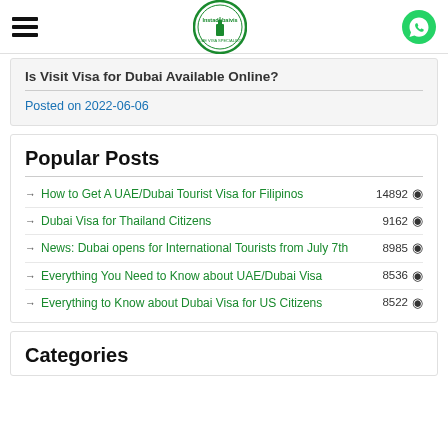Instadubaivis - UAE Visa Specialists
Is Visit Visa for Dubai Available Online?
Posted on 2022-06-06
Popular Posts
How to Get A UAE/Dubai Tourist Visa for Filipinos 14892
Dubai Visa for Thailand Citizens 9162
News: Dubai opens for International Tourists from July 7th 8985
Everything You Need to Know about UAE/Dubai Visa 8536
Everything to Know about Dubai Visa for US Citizens 8522
Categories